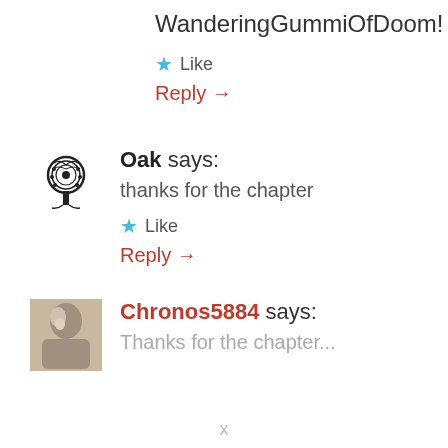WanderingGummiOfDoom!
★ Like
Reply →
Oak says:
thanks for the chapter
★ Like
Reply →
Chronos5884 says:
Thanks for the chapter...